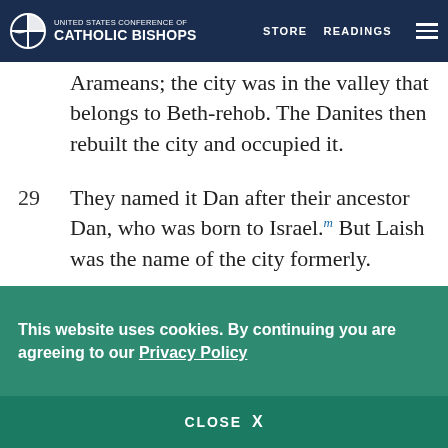United States Conference of Catholic Bishops | STORE | READINGS
Arameans; the city was in the valley that belongs to Beth-rehob. The Danites then rebuilt the city and occupied it.
29  They named it Dan after their ancestor Dan, who was born to Israel.[m] But Laish was the name of the city formerly.
30  * The Danites set up the idol for themselves, and Jonathan, son of Gershom, son of Moses,[n] and his descendants were priests for the tribe of the
This website uses cookies. By continuing you are agreeing to our Privacy Policy
CLOSE  X